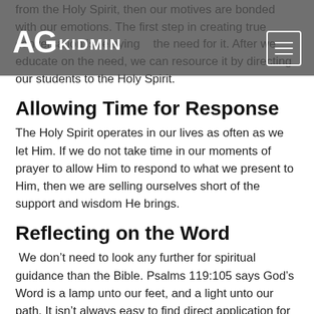AG KIDMIN
from the Holy Spirit, then our motives are bonded with our emotions. The first step in creating true conversation is relaying the need for it. After we educate on the need, we can resource it by directing our students to the Holy Spirit.
Allowing Time for Response
The Holy Spirit operates in our lives as often as we let Him. If we do not take time in our moments of prayer to allow Him to respond to what we present to Him, then we are selling ourselves short of the support and wisdom He brings.
Reflecting on the Word
We don’t need to look any further for spiritual guidance than the Bible. Psalms 119:105 says God’s Word is a lamp unto our feet, and a light unto our path. It isn’t always easy to find direct application for what we read, but when we take time to meditate on